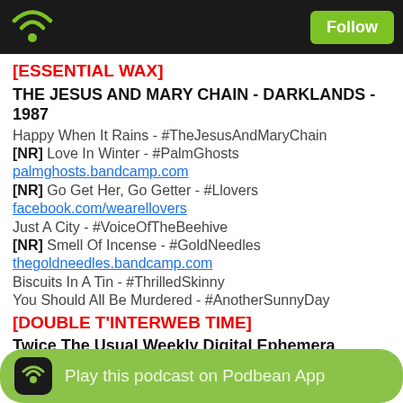Follow
[ESSENTIAL WAX]
THE JESUS AND MARY CHAIN - DARKLANDS - 1987
Happy When It Rains - #TheJesusAndMaryChain
[NR] Love In Winter - #PalmGhosts
palmghosts.bandcamp.com
[NR] Go Get Her, Go Getter - #Llovers
facebook.com/wearellovers
Just A City - #VoiceOfTheBeehive
[NR] Smell Of Incense - #GoldNeedles
thegoldneedles.bandcamp.com
Biscuits In A Tin - #ThrilledSkinny
You Should All Be Murdered - #AnotherSunnyDay
[DOUBLE T'INTERWEB TIME]
Twice The Usual Weekly Digital Ephemera
1. Sarah Records is now on Bandcamp
sarahrecords.bandcamp.com
brooklynvegan.com/sarah-records-is-now-on-bandcamp
2. Cocteau... Years 4CD
Play this podcast on Podbean App